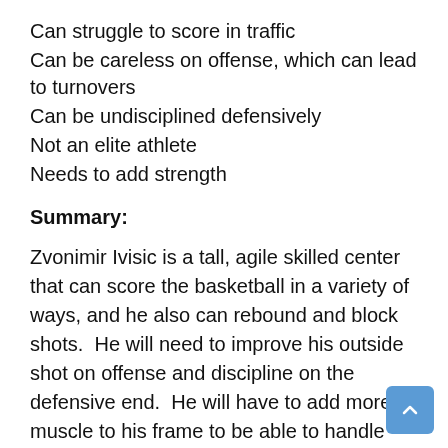Can struggle to score in traffic
Can be careless on offense, which can lead to turnovers
Can be undisciplined defensively
Not an elite athlete
Needs to add strength
Summary:
Zvonimir Ivisic is a tall, agile skilled center that can score the basketball in a variety of ways, and he also can rebound and block shots.  He will need to improve his outside shot on offense and discipline on the defensive end.  He will have to add more muscle to his frame to be able to handle stronger opponents.  He recently entered